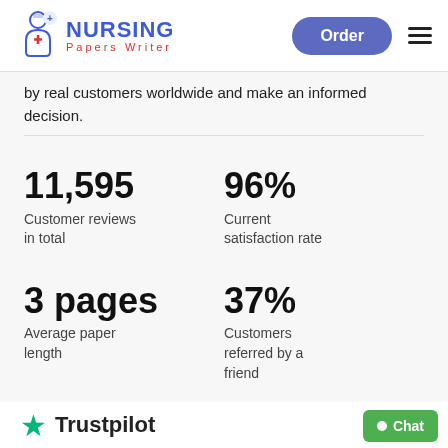[Figure (logo): Nursing Papers Writer logo with nurse icon, blue NURSING text, red Papers Writer subtext]
by real customers worldwide and make an informed decision.
11,595
Customer reviews in total
96%
Current satisfaction rate
3 pages
Average paper length
37%
Customers referred by a friend
[Figure (logo): Trustpilot logo with green star and Trustpilot text]